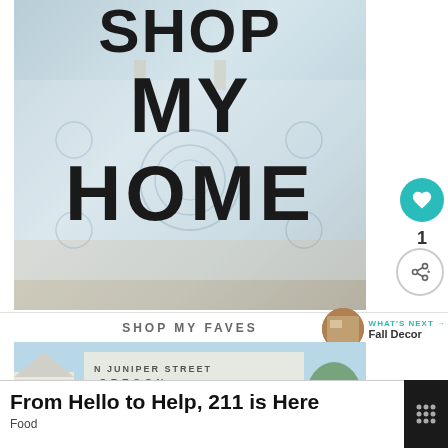[Figure (photo): A home decor promotional image showing a patterned blue and white area rug with furniture, overlaid with bold black text reading SHOP MY HOME]
1
SHOP MY FAVES
WHAT'S NEXT → Fall Decor
[Figure (photo): Partial view of a second home decor image showing text signs with words like N JUNIPER STREET, OREGON, ORCHARD CIR]
From Hello to Help, 211 is Here
Food